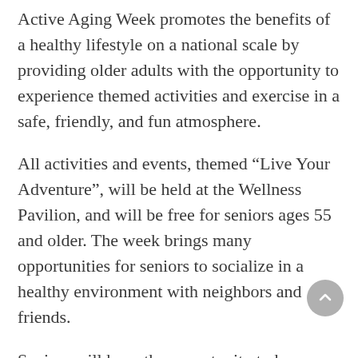Active Aging Week promotes the benefits of a healthy lifestyle on a national scale by providing older adults with the opportunity to experience themed activities and exercise in a safe, friendly, and fun atmosphere.
All activities and events, themed “Live Your Adventure”, will be held at the Wellness Pavilion, and will be free for seniors ages 55 and older. The week brings many opportunities for seniors to socialize in a healthy environment with neighbors and friends.
Seniors will have the opportunity to hear about the adventures of Chris Clemens during the free senior lunch at the Arthur & Gloria Muselman Wellness Pavilion on